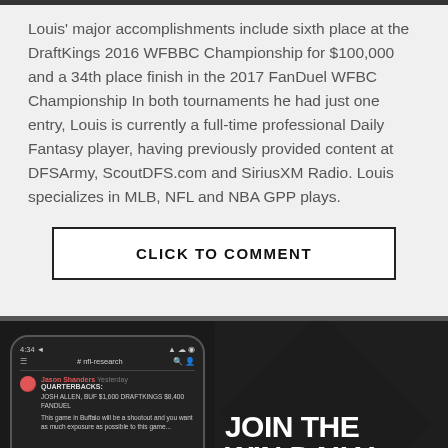Louis' major accomplishments include sixth place at the DraftKings 2016 WFBBC Championship for $100,000 and a 34th place finish in the 2017 FanDuel WFBC Championship In both tournaments he had just one entry, Louis is currently a full-time professional Daily Fantasy player, having previously provided content at DFSArmy, ScoutDFS.com and SiriusXM Radio. Louis specializes in MLB, NFL and NBA GPP plays.
CLICK TO COMMENT
[Figure (screenshot): Promotional image showing a phone screenshot of a Discord-like app (nfl-research channel) on the left side and bold text 'JOIN THE WIN DAILY EXPERT' on the right side with a dark background.]